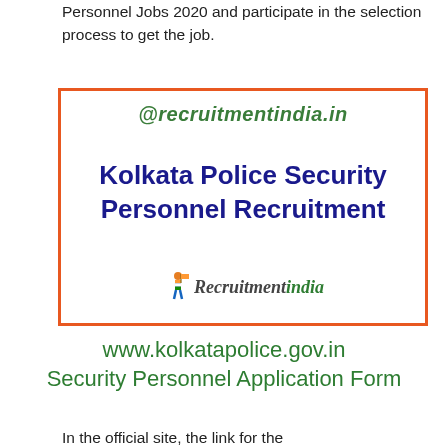Personnel Jobs 2020 and participate in the selection process to get the job.
[Figure (infographic): Bordered box with orange border containing @recruitmentindia.in in green italic bold text, 'Kolkata Police Security Personnel Recruitment' in bold dark blue, and RecruitmentIndia logo at the bottom.]
www.kolkatapolice.gov.in Security Personnel Application Form
In the official site, the link for the